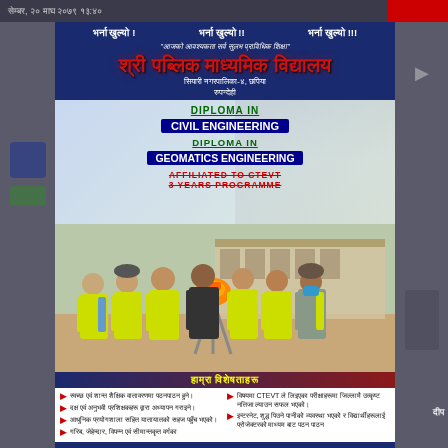सेम्बर, २० माघ २०७९ १३:४०
श्री पब्लिक माध्यमिक विद्यालय
भर्ना खुल्यो ! भर्ना खुल्यो !! भर्ना खुल्यो !!!
"आजको आवश्यकता सर्व सुलभ प्राविधिक शिक्षा"
सियारी नगरपालिका-४, छपिया
रुपन्देही
DIPLOMA IN CIVIL ENGINEERING
DIPLOMA IN GEOMATICS ENGINEERING
AFFILIATED TO CTEVT
3 YEARS PROGRAMME
[Figure (photo): Group of engineering students in yellow safety vests standing around a surveying instrument (total station on tripod) in an open area with a school building in the background]
हाम्रा विशेषताहरू
स्वच्छ एवं शान्त शैक्षिक वातावरणमा पठनपाठन हुने।
दक्ष एवं अनुभवी प्रशिक्षकहरू द्वारा अध्यापन गराइने।
आधुनिक प्रयोगशाला सहित यातायातको सहज पहुँच भएको।
गरिब, जेहेन्दार, विपन्न एवं सीमान्तकृत वर्गका
विषयमा CTEVT ले लिइएका परीक्षाहरूमा जिल्लामै उत्कृष्ट नतिजा ल्याउन सफल भएको।
इन्टरनेट, शुद्ध पिउने पानीको व्यवस्था भएको र विद्यार्थीहरूलाई प्रोजेक्टरको माध्यम बाट पठन पाठन